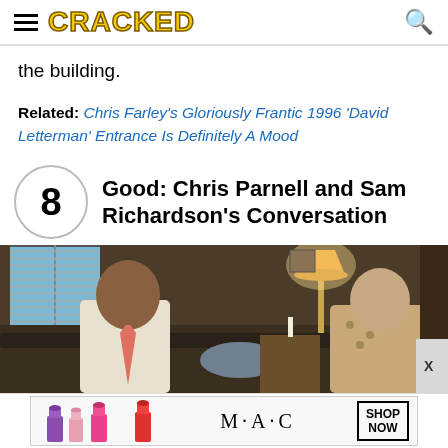CRACKED
the building.
Related: Chris Farley's Gloriously Frantic 1996 'David Letterman' Entrance Is Definitely A Mood
8 Good: Chris Parnell and Sam Richardson's Conversation
[Figure (photo): Two men sitting on a couch in a living room scene. A man in a white shirt and pink tie on the left, another man in a patterned shirt on the right. A lamp is lit in the background.]
[Figure (other): MAC cosmetics advertisement with lipsticks and SHOP NOW button]